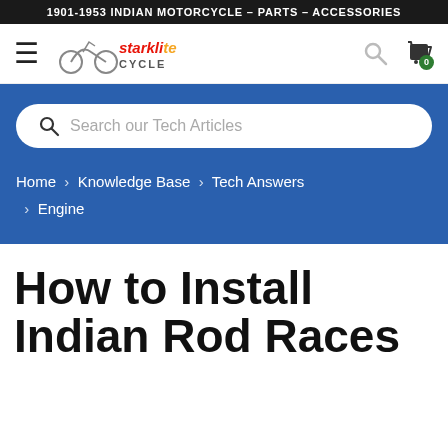1901-1953 INDIAN MOTORCYCLE – PARTS – ACCESSORIES
[Figure (logo): Starklite Cycle logo with motorcycle image, hamburger menu icon, search icon, and cart icon with badge 0]
[Figure (screenshot): Blue hero section with search bar reading 'Search our Tech Articles' and breadcrumb navigation: Home > Knowledge Base > Tech Answers > Engine]
How to Install Indian Rod Races